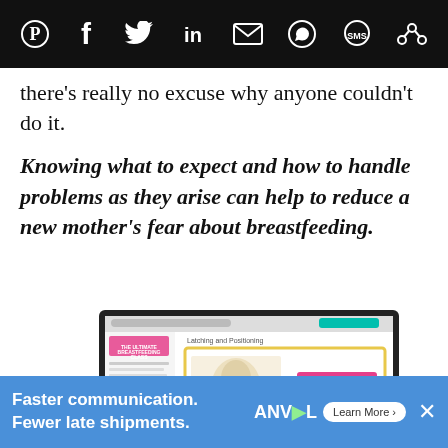Social share bar with icons: Pinterest, Facebook, Twitter, LinkedIn, Email, WhatsApp, SMS, other
there's really no excuse why anyone couldn't do it.
Knowing what to expect and how to handle problems as they arise can help to reduce a new mother's fear about breastfeeding.
[Figure (screenshot): Screenshot of 'The Ultimate Breastfeeding Class' online course interface showing a lesson titled 'Latching and Positioning' with a yellow-bordered slide containing a pink/magenta 'LATCHING' label and 'AND POSITIONING' text beneath it, alongside a breast pump image]
Faster communication. Fewer late shipments. ANVL Learn More